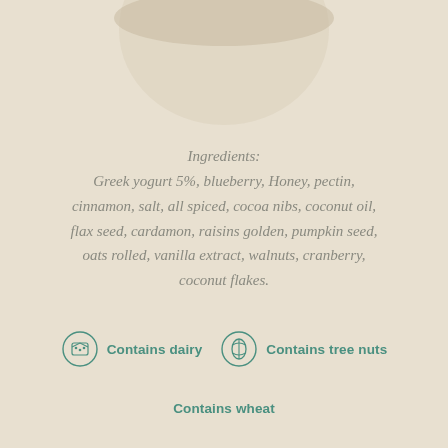[Figure (illustration): Partial view of a bowl from above, visible at the top of the page as a shadow/silhouette]
Ingredients: Greek yogurt 5%, blueberry, Honey, pectin, cinnamon, salt, all spiced, cocoa nibs, coconut oil, flax seed, cardamon, raisins golden, pumpkin seed, oats rolled, vanilla extract, walnuts, cranberry, coconut flakes.
Contains dairy
Contains tree nuts
Contains wheat